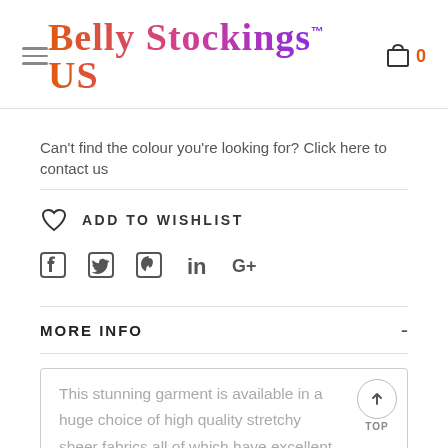Belly Stockings™ US
Can't find the colour you're looking for? Click here to contact us
ADD TO WISHLIST
[Figure (other): Social media icons: Facebook, Twitter, Pinterest, LinkedIn, Google+]
MORE INFO
This stunning garment is available in a huge choice of high quality stretchy sheer fabrics all of which have excellent hold control. It flattens your tummy, arms and legs smoothing out any bulges or 'bingo